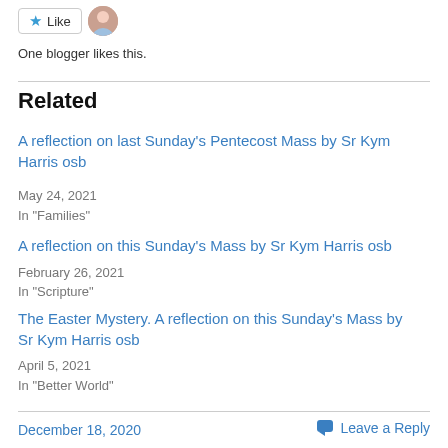One blogger likes this.
Related
A reflection on last Sunday's Pentecost Mass by Sr Kym Harris osb
May 24, 2021
In "Families"
A reflection on this Sunday's Mass by Sr Kym Harris osb
February 26, 2021
In "Scripture"
The Easter Mystery. A reflection on this Sunday's Mass by Sr Kym Harris osb
April 5, 2021
In "Better World"
December 18, 2020    Leave a Reply